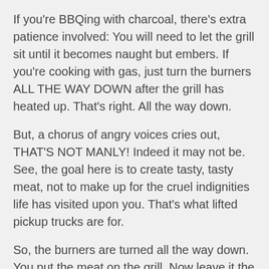If you're BBQing with charcoal, there's extra patience involved: You will need to let the grill sit until it becomes naught but embers. If you're cooking with gas, just turn the burners ALL THE WAY DOWN after the grill has heated up. That's right. All the way down.
But, a chorus of angry voices cries out, THAT'S NOT MANLY! Indeed it may not be. See, the goal here is to create tasty, tasty meat, not to make up for the cruel indignities life has visited upon you. That's what lifted pickup trucks are for.
So, the burners are turned all the way down. You put the meat on the grill. Now leave it the hell alone for ten minutes. Yes, we are going to use manly-man technology to help us BBQ. That technology is called a watch. Wait at least ten minutes, then turn the meat.
Then go sip a tasty beverage for another ten minutes,